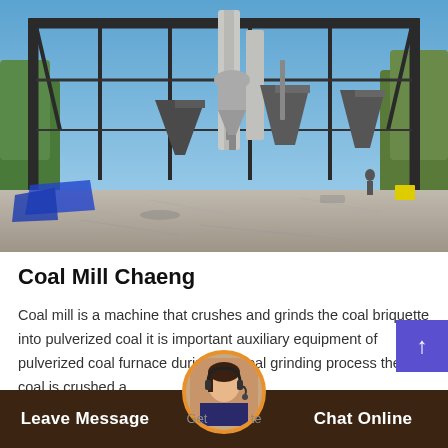[Figure (photo): Industrial coal mill facility under construction showing steel frame structure, hoppers, silos, and grinding equipment on a concrete floor with blue sky visible through the open roof structure.]
Coal Mill Chaeng
Coal mill is a machine that crushes and grinds the coal briquette into pulverized coal it is important auxiliary equipment of pulverized coal furnace during the coal grinding process the coal is crushed a…